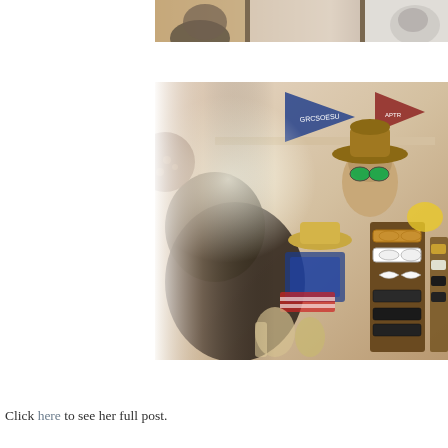[Figure (photo): Top portion of a photo showing what appears to be posters or artwork on a wall, partially cropped at the top of the page]
[Figure (photo): A vintage/retro shop display showing mannequin heads wearing hats and sunglasses, a rack of sunglasses, various accessories, pennants on the wall, in warm tones]
Click here to see her full post.